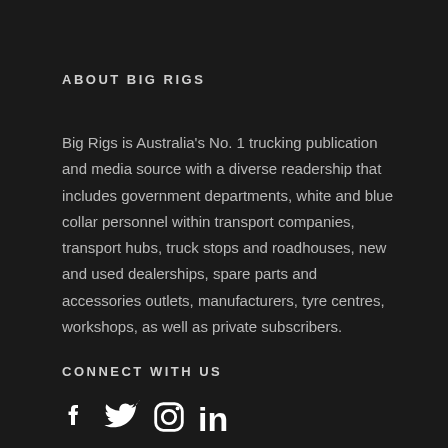ABOUT BIG RIGS
Big Rigs is Australia's No. 1 trucking publication and media source with a diverse readership that includes government departments, white and blue collar personnel within transport companies, transport hubs, truck stops and roadhouses, new and used dealerships, spare parts and accessories outlets, manufacturers, tyre centres, workshops, as well as private subscribers.
CONNECT WITH US
[Figure (other): Social media icons: Facebook, Twitter, Instagram, LinkedIn]